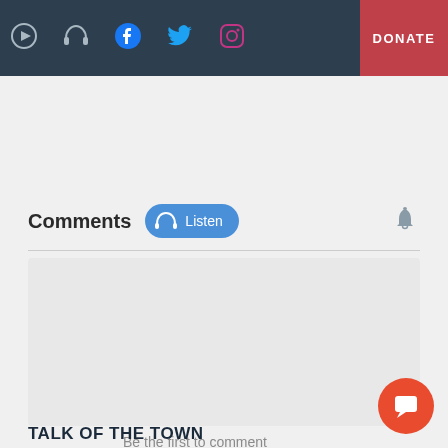Navigation bar with icons: Play, Headphones, Facebook, Twitter, Instagram, and DONATE button
Comments  Listen
[Figure (other): Empty comment input box area with light gray background]
Be the first to comment
TALK OF THE TOWN